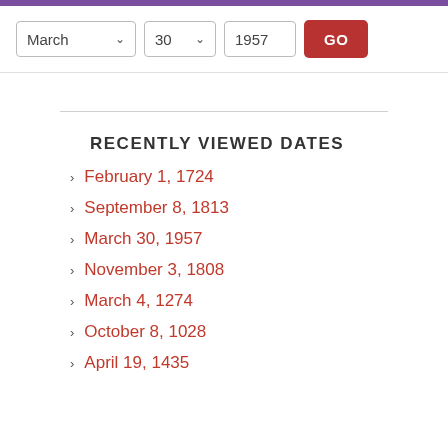[Figure (screenshot): Purple top bar stripe]
March   30   1957   GO
RECENTLY VIEWED DATES
February 1, 1724
September 8, 1813
March 30, 1957
November 3, 1808
March 4, 1274
October 8, 1028
April 19, 1435